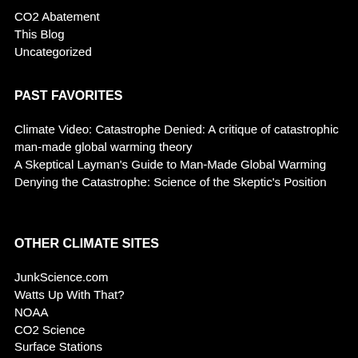CO2 Abatement
This Blog
Uncategorized
PAST FAVORITES
Climate Video: Catastrophe Denied: A critique of catastrophic man-made global warming theory
A Skeptical Layman's Guide to Man-Made Global Warming
Denying the Catastrophe: Science of the Skeptic's Position
OTHER CLIMATE SITES
JunkScience.com
Watts Up With That?
NOAA
CO2 Science
Surface Stations
Climate Audit
RealClimate